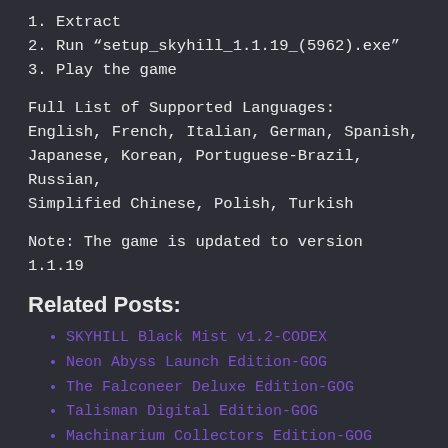1. Extract
2. Run “setup_skyhill_1.1.19_(5962).exe”
3. Play the game
Full List of Supported Languages:
English, French, Italian, German, Spanish, Japanese, Korean, Portuguese-Brazil, Russian, Simplified Chinese, Polish, Turkish
Note: The game is updated to version 1.1.19
Related Posts:
SKYHILL Black Mist v1.2-CODEX
Neon Abyss Launch Edition-GOG
The Falconeer Deluxe Edition-GOG
Talisman Digital Edition-GOG
Machinarium Collectors Edition-GOG
Astebreed Definitive Edition-GOG